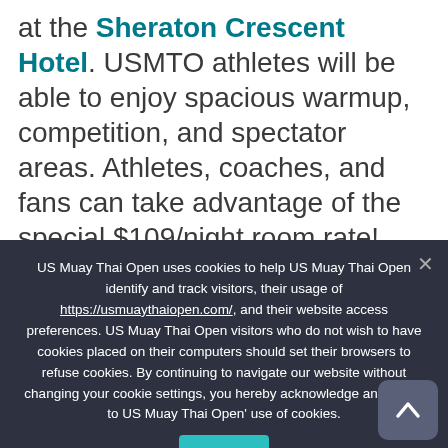at the Sheraton Crescent Hotel. USMTO athletes will be able to enjoy spacious warmup, competition, and spectator areas.  Athletes, coaches, and fans can take advantage of the special $109/night room rate!  The hotel's amenities including a pool and waterslide, fitness room, athletic courts, locker rooms, SAUNA,  free parking, and FREE BREAKFAST! will...
US Muay Thai Open uses cookies to help US Muay Thai Open identify and track visitors, their usage of https://usmuaythaiopen.com/, and their website access preferences. US Muay Thai Open visitors who do not wish to have cookies placed on their computers should set their browsers to refuse cookies. By continuing to navigate our website without changing your cookie settings, you hereby acknowledge and agree to US Muay Thai Open' use of cookies.